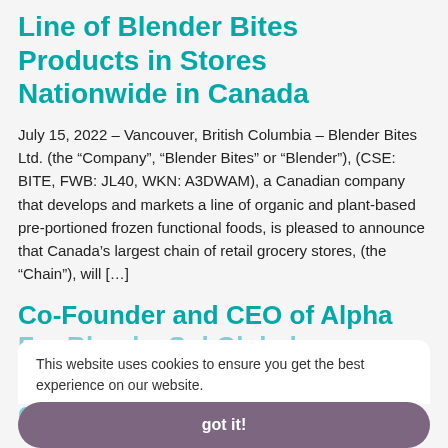Line of Blender Bites Products in Stores Nationwide in Canada
July 15, 2022 – Vancouver, British Columbia – Blender Bites Ltd. (the “Company”, “Blender Bites” or “Blender”), (CSE: BITE, FWB: JL40, WKN: A3DWAM), a Canadian company that develops and markets a line of organic and plant-based pre-portioned frozen functional foods, is pleased to announce that Canada’s largest chain of retail grocery stores, (the “Chain”), will […]
Co-Founder and CEO of Alpha
F… Blends, Sol Global…,
Appointed to Advisory Board of Blender Bites
This website uses cookies to ensure you get the best experience on our website.
got it!